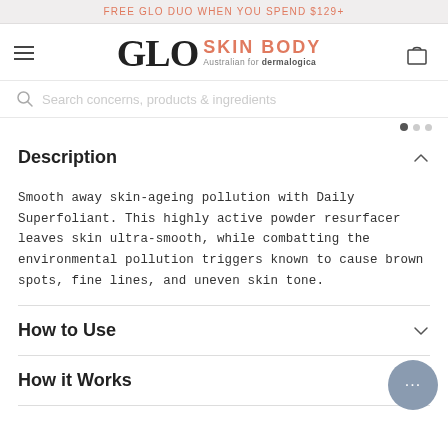FREE GLO DUO WHEN YOU SPEND $129+
[Figure (logo): GLO SKIN BODY logo - Australian for dermalogica, with hamburger menu and bag icon]
Search concerns, products & ingredients
Description
Smooth away skin-ageing pollution with Daily Superfoliant. This highly active powder resurfacer leaves skin ultra-smooth, while combatting the environmental pollution triggers known to cause brown spots, fine lines, and uneven skin tone.
How to Use
How it Works